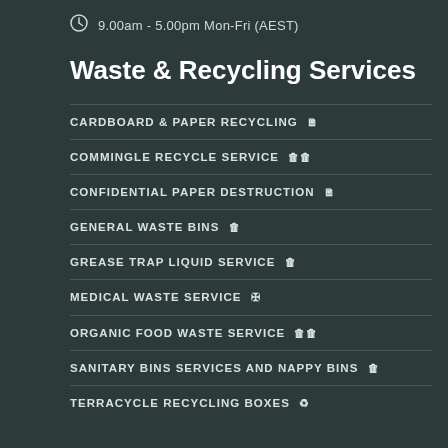9.00am - 5.00pm Mon-Fri (AEST)
Waste & Recycling Services
CARDBOARD & PAPER RECYCLING 🗎
COMMINGLE RECYCLE SERVICE 🗑🗑
CONFIDENTIAL PAPER DESTRUCTION 🗎
GENERAL WASTE BINS 🗑
GREASE TRAP LIQUID SERVICE 🗑
MEDICAL WASTE SERVICE ✚
ORGANIC FOOD WASTE SERVICE 🗑🗑
SANITARY BINS SERVICES AND NAPPY BINS 🗑
TERRACYCLE RECYCLING BOXES ♻